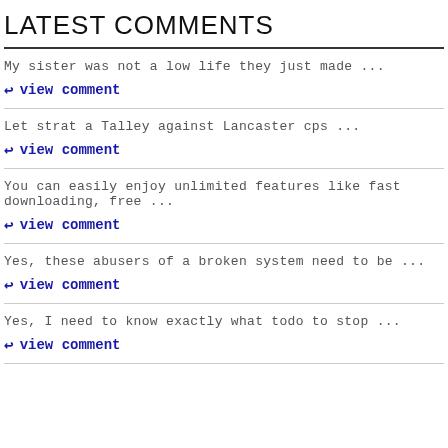LATEST COMMENTS
My sister was not a low life they just made ...
view comment
Let strat a Talley against Lancaster cps ...
view comment
You can easily enjoy unlimited features like fast downloading, free ...
view comment
Yes, these abusers of a broken system need to be ...
view comment
Yes, I need to know exactly what todo to stop ...
view comment